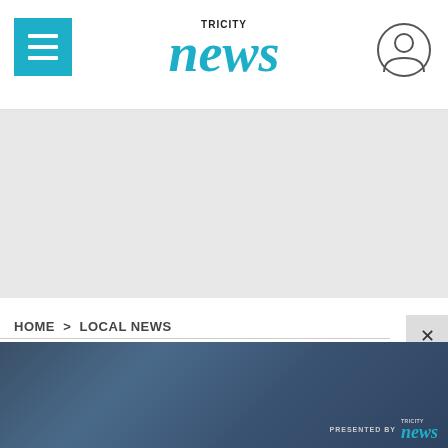TRI CITY news
[Figure (other): Gray advertisement banner placeholder area]
HOME > LOCAL NEWS
[Figure (other): Dark blue gradient video or media embed area with 'PRESENTED BY TRI CITY news' logo in lower right corner]